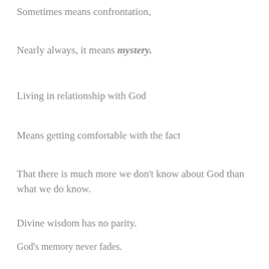Sometimes means confrontation,
Nearly always, it means mystery.
Living in relationship with God
Means getting comfortable with the fact
That there is much more we don't know about God than what we do know.
Divine wisdom has no parity.
God's memory never fades.
The Lord's motives can never be fully known.